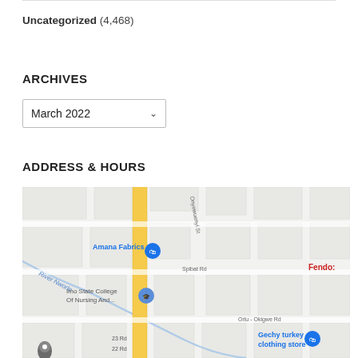Uncategorized (4,468)
ARCHIVES
March 2022
ADDRESS & HOURS
[Figure (map): Google map showing area near Amana Fabrics, Imo State College Of Nursing And..., Gechy turkey clothing store, along a yellow road (likely a highway). Labels include River Nworle, Onyewuenyi St, Spibat Rd, Orlu - Okigwe Rd, 23 Rd, 22 Rd, Fendo:. Map pins visible for Amana Fabrics, Imo State College Of Nursing And..., Gechy turkey clothing store, and another location bottom-left.]